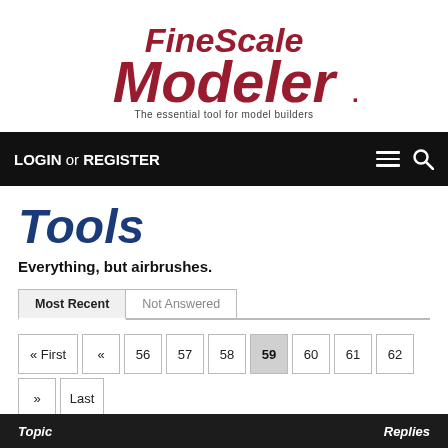[Figure (logo): FineScale Modeler logo with tagline 'The essential tool for model builders']
LOGIN or REGISTER
Tools
Everything, but airbrushes.
Most Recent | Not Answered
« First « 56 57 58 59 60 61 62 » Last »